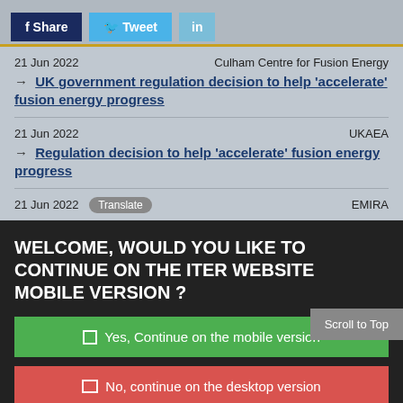Share | Tweet | in
21 Jun 2022 | Culham Centre for Fusion Energy | → UK government regulation decision to help 'accelerate' fusion energy progress
21 Jun 2022 | UKAEA | → Regulation decision to help 'accelerate' fusion energy progress
21 Jun 2022 Translate | EMIRA
WELCOME, WOULD YOU LIKE TO CONTINUE ON THE ITER WEBSITE MOBILE VERSION ?
□ Yes, Continue on the mobile version
□ No, continue on the desktop version
Scroll to Top